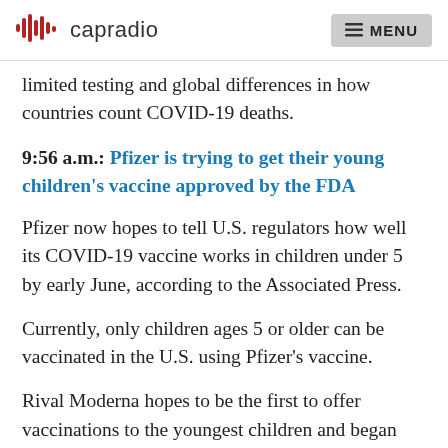capradio  MENU
limited testing and global differences in how countries count COVID-19 deaths.
9:56 a.m.: Pfizer is trying to get their young children's vaccine approved by the FDA
Pfizer now hopes to tell U.S. regulators how well its COVID-19 vaccine works in children under 5 by early June, according to the Associated Press.
Currently, only children ages 5 or older can be vaccinated in the U.S. using Pfizer's vaccine.
Rival Moderna hopes to be the first to offer vaccinations to the youngest children and began filling its own data with the Food and Drug